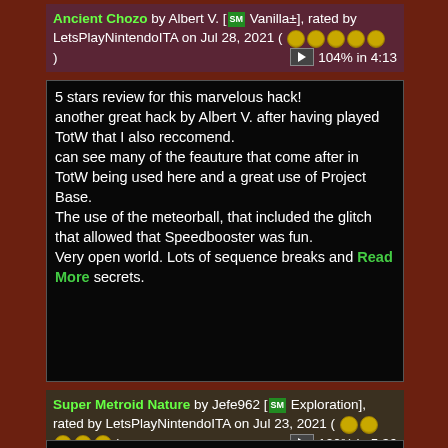Ancient Chozo by Albert V. [SM Vanilla+], rated by LetsPlayNintendoITA on Jul 28, 2021 ( ★★★★★ ) ▶ 104% in 4:13
5 stars review for this marvelous hack!
another great hack by Albert V. after having played TotW that I also reccomend.
can see many of the feauture that come after in TotW being used here and a great use of Project Base.
The use of the meteorball, that included the glitch that allowed that Speedbooster was fun.
Very open world. Lots of sequence breaks and secrets. Read More
Super Metroid Nature by Jefe962 [SM Exploration], rated by LetsPlayNintendoITA on Jul 23, 2021 ( ★★★★★ ) ▶ 100% in 5:36
really liked nature.
Fresh paint not very difficult and had fun with Bomb Burst. Secrets were cool. 100%'d it of